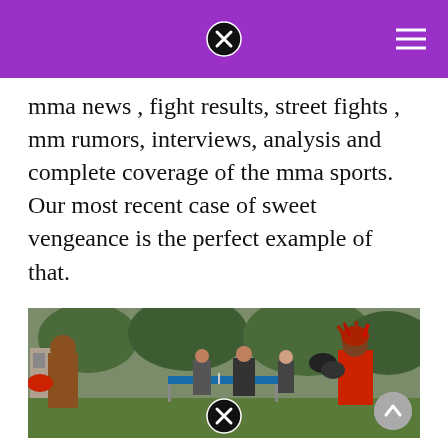mma news , fight results, street fights , mm rumors, interviews, analysis and complete coverage of the mma sports. Our most recent case of sweet vengeance is the perfect example of that.
[Figure (photo): Two men boxing outdoors with Everlast gloves. Left fighter is shirtless wearing red gloves; right fighter has red dreadlocks and wears a red tank top with black gloves. Several spectators stand in the background near a ping pong table. Taken in a backyard with trees.]